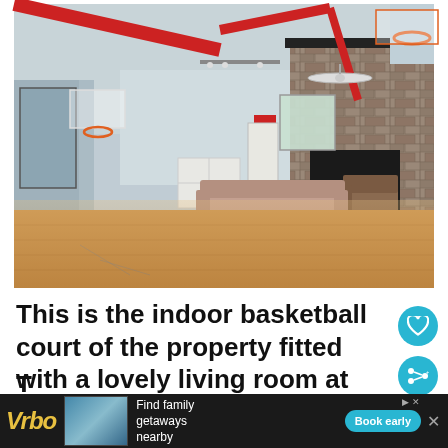[Figure (photo): Interior of a large room with hardwood basketball court flooring, red structural beams on high vaulted ceiling, a wall-mounted basketball backboard on the left, a basketball hoop visible in the upper right, a large stone fireplace on the right wall, a sofa and leather chair near the fireplace, white shelving unit in the middle background, ceiling fan, and a window with natural light.]
This is the indoor basketball court of the property fitted with a lovely living room at the corner that has a large stone fireplace across fr... T...
[Figure (screenshot): Advertisement banner: Vrbo logo, vacation house photo, 'Find family getaways nearby' text, 'Book early' button, close X button.]